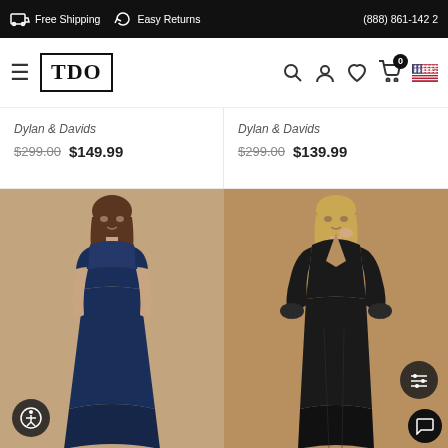Free Shipping  Easy Returns  (888) 861-1422
[Figure (screenshot): TDO logo with hamburger menu and navigation icons including search, account, wishlist, cart (0), and US flag]
Dylan & Davids
$299.00  $149.99
Dylan & Davids
$299.00  $139.99
[Figure (photo): Woman wearing a navy blue long dress with lace bodice and short sleeves, posing on a tan/beige background]
[Figure (photo): Woman wearing a black long-sleeve deep V-neck satin gown with billowy sleeves, posing on a tan/beige background]